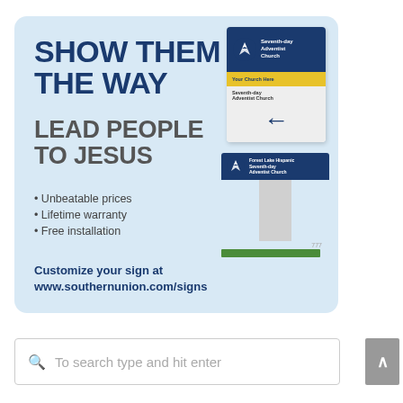[Figure (illustration): Advertisement card with light blue background. Large bold navy text reads 'SHOW THEM THE WAY' and gray bold text reads 'LEAD PEOPLE TO JESUS'. Bullet points list 'Unbeatable prices', 'Lifetime warranty', 'Free installation'. CTA text: 'Customize your sign at www.southernunion.com/signs'. Right side shows two Seventh-day Adventist church signs as product illustrations.]
To search type and hit enter